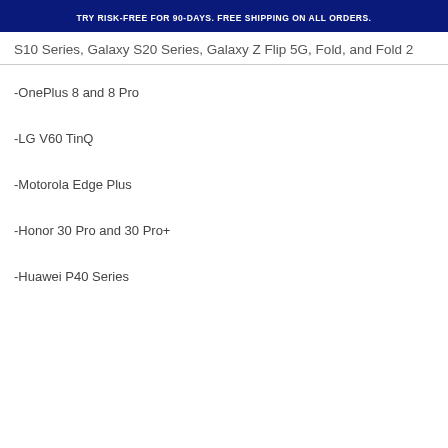TRY RISK-FREE FOR 90-DAYS. FREE SHIPPING ON ALL ORDERS.
S10 Series, Galaxy S20 Series, Galaxy Z Flip 5G, Fold, and Fold 2
-OnePlus 8 and 8 Pro
-LG V60 TinQ
-Motorola Edge Plus
-Honor 30 Pro and 30 Pro+
-Huawei P40 Series